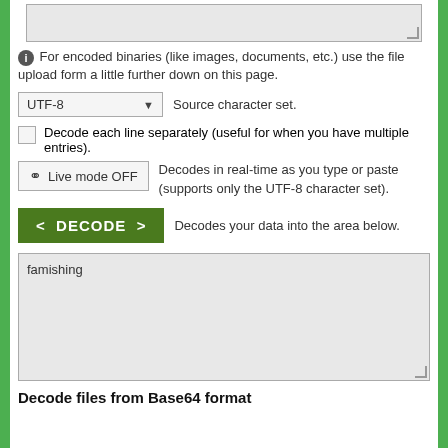[Figure (screenshot): Textarea input box at top of page, empty, with resize handle]
For encoded binaries (like images, documents, etc.) use the file upload form a little further down on this page.
[Figure (screenshot): UTF-8 dropdown selector labeled 'Source character set.']
Decode each line separately (useful for when you have multiple entries).
Live mode OFF   Decodes in real-time as you type or paste (supports only the UTF-8 character set).
DECODE   Decodes your data into the area below.
[Figure (screenshot): Output textarea box containing the word 'famishing', with resize handle]
Decode files from Base64 format